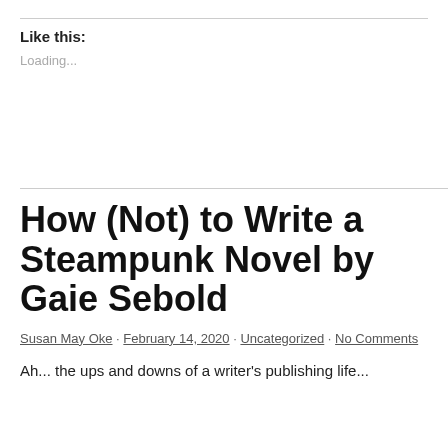Like this:
Loading...
How (Not) to Write a Steampunk Novel by Gaie Sebold
Susan May Oke · February 14, 2020 · Uncategorized · No Comments
Ah... the ups and downs of a writer's publishing life...